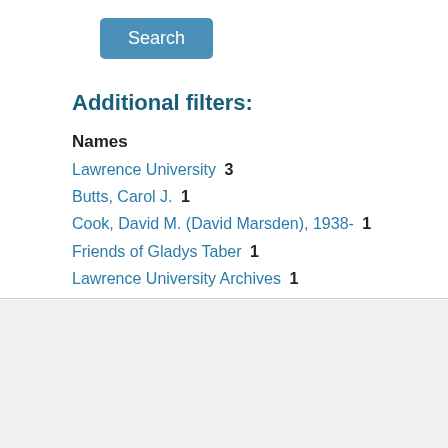[Figure (other): Blue 'Search' button]
Additional filters:
Names
Lawrence University  3
Butts, Carol J.  1
Cook, David M. (David Marsden), 1938-  1
Friends of Gladys Taber  1
Lawrence University Archives  1
v more
Staff Interface
Lawrence University Archives
Seeley G. Mudd Library
113 S Lawe St
Appleton, WI 54911